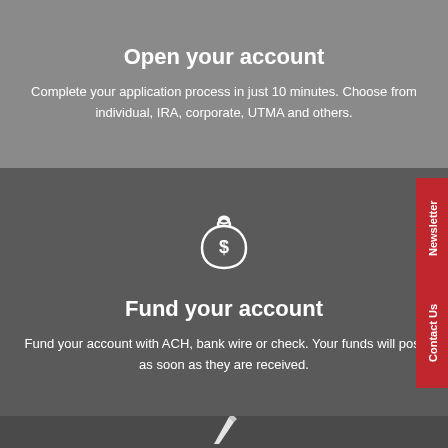Open your account
Complete your application process in just 10 minutes. Choose from individual, IRA, corporate, UTMA and others.
[Figure (illustration): White line icon of a money bag with a dollar sign on it]
Fund your account
Fund your account with ACH, bank wire or check. Your funds will post as soon as they are received.
[Figure (illustration): Partially visible white icon at the bottom of the page, appears to be a pen or writing instrument]